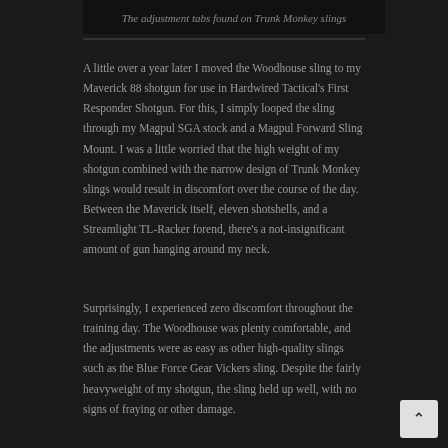The adjustment tabs found on Trunk Monkey slings
A little over a year later I moved the Woodhouse sling to my Maverick 88 shotgun for use in Hardwired Tactical's First Responder Shotgun. For this, I simply looped the sling through my Magpul SGA stock and a Magpul Forward Sling Mount. I was a little worried that the high weight of my shotgun combined with the narrow design of Trunk Monkey slings would result in discomfort over the course of the day. Between the Maverick itself, eleven shotshells, and a Streamlight TL-Racker forend, there's a not-insignificant amount of gun hanging around my neck.
Surprisingly, I experienced zero discomfort throughout the training day. The Woodhouse was plenty comfortable, and the adjustments were as easy as other high-quality slings such as the Blue Force Gear Vickers sling. Despite the fairly heavyweight of my shotgun, the sling held up well, with no signs of fraying or other damage.